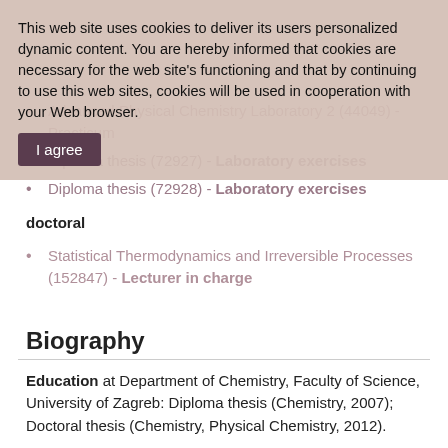This web site uses cookies to deliver its users personalized dynamic content. You are hereby informed that cookies are necessary for the web site's functioning and that by continuing to use this web sites, cookies will be used in cooperation with your Web browser.
Advanced Physical Chemistry Laboratory 2 (44049) - Practicum
Diploma thesis (72927) - Laboratory exercises
Diploma thesis (72928) - Laboratory exercises
doctoral
Statistical Thermodynamics and Irreversible Processes (152847) - Lecturer in charge
Biography
Education at Department of Chemistry, Faculty of Science, University of Zagreb: Diploma thesis (Chemistry, 2007); Doctoral thesis (Chemistry, Physical Chemistry, 2012).
Affiliation...